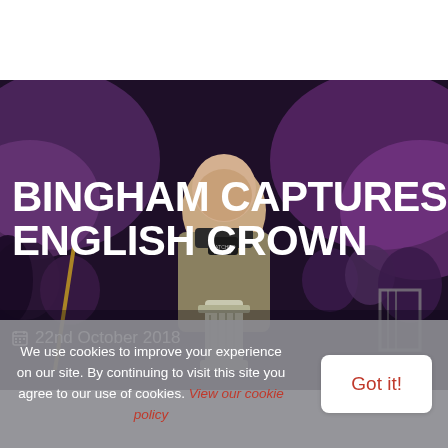[Figure (photo): Stuart Bingham holding a trophy at a snooker event, crowd visible in the background with purple lighting]
BINGHAM CAPTURES ENGLISH CROWN
22nd October 2018
We use cookies to improve your experience on our site. By continuing to visit this site you agree to our use of cookies. View our cookie policy